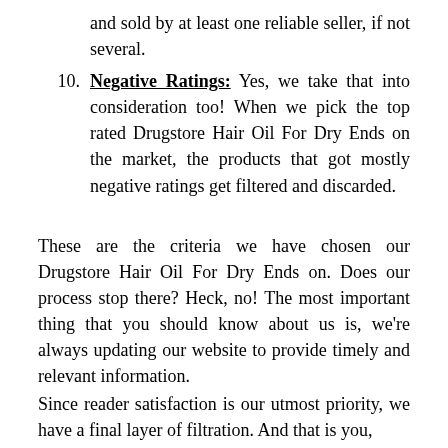and sold by at least one reliable seller, if not several.
10. Negative Ratings: Yes, we take that into consideration too! When we pick the top rated Drugstore Hair Oil For Dry Ends on the market, the products that got mostly negative ratings get filtered and discarded.
These are the criteria we have chosen our Drugstore Hair Oil For Dry Ends on. Does our process stop there? Heck, no! The most important thing that you should know about us is, we're always updating our website to provide timely and relevant information.
Since reader satisfaction is our utmost priority, we have a final layer of filtration. And that is you,